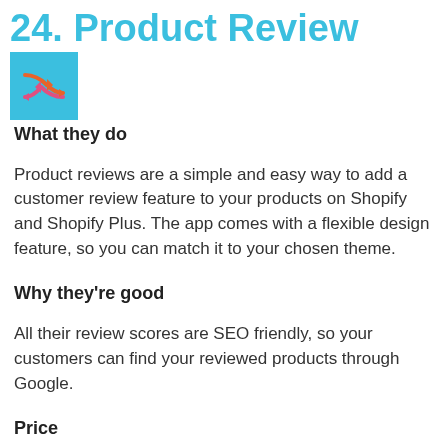24. Product Review
[Figure (logo): Shuffle/random icon with orange and pink arrows on a teal/blue background square]
What they do
Product reviews are a simple and easy way to add a customer review feature to your products on Shopify and Shopify Plus. The app comes with a flexible design feature, so you can match it to your chosen theme.
Why they're good
All their review scores are SEO friendly, so your customers can find your reviewed products through Google.
Price